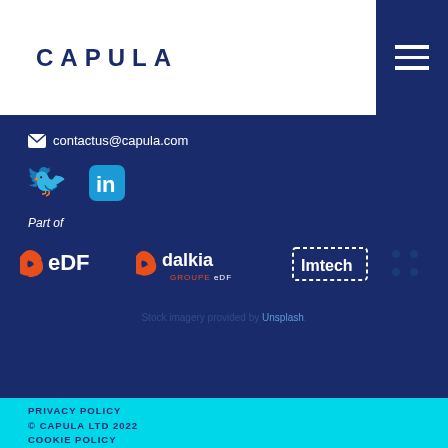[Figure (logo): CAPULA logo in dark navy blue bold uppercase letters]
[Figure (logo): Hamburger menu icon (three white horizontal lines) on dark navy background]
✉ contactus@capula.com
[Figure (logo): Twitter bird icon in cyan blue and LinkedIn 'in' icon in cyan blue]
Part of
[Figure (logo): EDF logo, Dalkia Groupe EDF logo, Imtech logo, and partial logo with dots — partner company logos]
Stock imagery provided by Unsplash.
PRIVACY POLICY
© CAPULA LTD 2022
COOKIE POLICY
DISCLAIMER